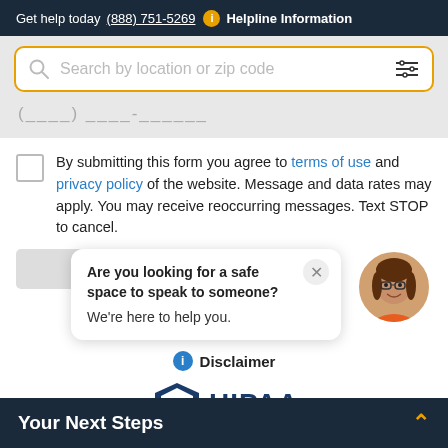Get help today (888) 751-5269  Helpline Information
[Figure (screenshot): Search bar with gold/yellow border, showing placeholder 'Search by location or zip code' with a magnifying glass icon on the left and a filter/sliders icon on the right. Below: phone number input field placeholder with parentheses and dashes.]
By submitting this form you agree to terms of use and privacy policy of the website. Message and data rates may apply. You may receive reoccurring messages. Text STOP to cancel.
[Figure (screenshot): Chat popup bubble with close X button and avatar of a woman with brown hair and glasses wearing orange top. Text: 'Are you looking for a safe space to speak to someone? We're here to help you.']
Disclaimer
[Figure (logo): HIPAA Verified shield logo with text 'VERIFIED' inside shield and 'HIPAA' in large bold blue letters next to it.]
Your Next Steps